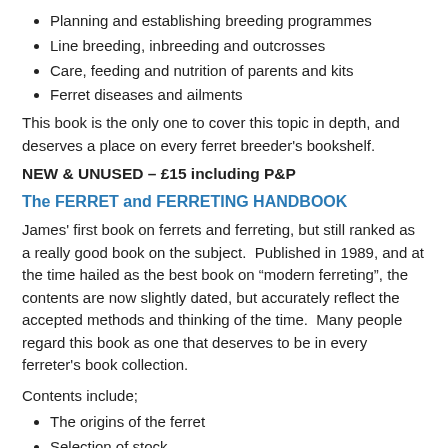Planning and establishing breeding programmes
Line breeding, inbreeding and outcrosses
Care, feeding and nutrition of parents and kits
Ferret diseases and ailments
This book is the only one to cover this topic in depth, and deserves a place on every ferret breeder's bookshelf.
NEW & UNUSED – £15 including P&P
The FERRET and FERRETING HANDBOOK
James' first book on ferrets and ferreting, but still ranked as a really good book on the subject. Published in 1989, and at the time hailed as the best book on “modern ferreting”, the contents are now slightly dated, but accurately reflect the accepted methods and thinking of the time. Many people regard this book as one that deserves to be in every ferreter's book collection.
Contents include;
The origins of the ferret
Selection of stock